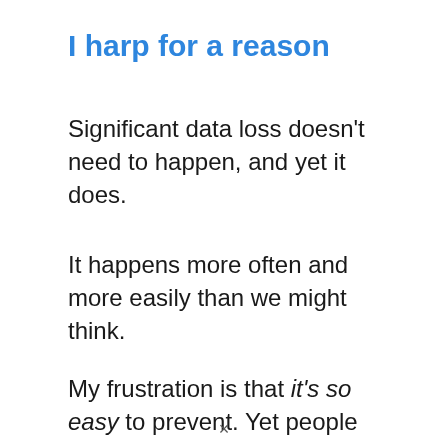I harp for a reason
Significant data loss doesn't need to happen, and yet it does.
It happens more often and more easily than we might think.
My frustration is that it's so easy to prevent. Yet people
×